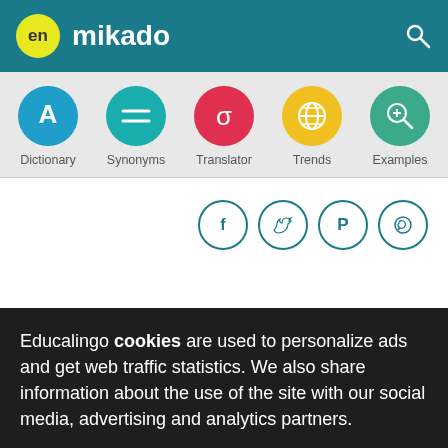en mikado
[Figure (screenshot): Navigation bar with five circular icon buttons: Dictionary (blue, letter A), Synonyms (teal, equals sign), Translator (red, sigma), Trends (yellow, globe), Examples (green, magnifier)]
[Figure (screenshot): Four social media circular outline icons: Facebook, Twitter, Pinterest, WhatsApp]
Educalingo cookies are used to personalize ads and get web traffic statistics. We also share information about the use of the site with our social media, advertising and analytics partners.
View details  Got it